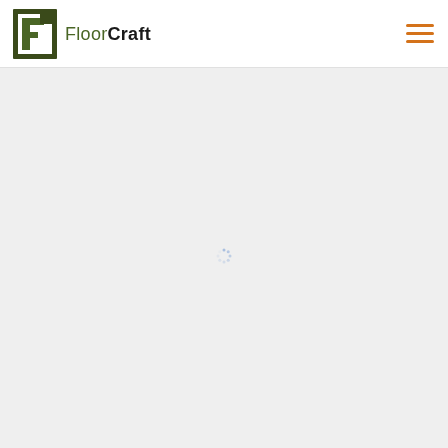FloorCraft — navigation header with logo and hamburger menu
[Figure (other): Loading spinner icon in the center of a light grey content area]